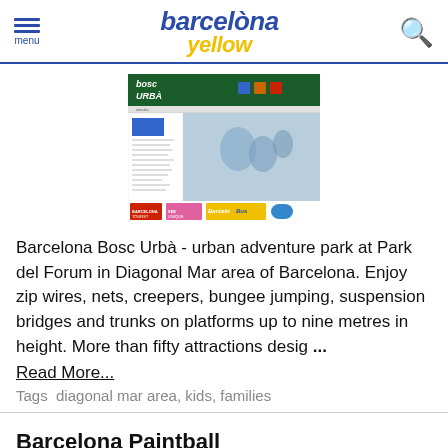menu | barcelona yellow | search
[Figure (screenshot): Screenshot of the Barcelona Bosc Urbà website showing the park's webpage with navigation, activity listings, and promotional banners]
Barcelona Bosc Urbà - urban adventure park at Park del Forum in Diagonal Mar area of Barcelona. Enjoy zip wires, nets, creepers, bungee jumping, suspension bridges and trunks on platforms up to nine metres in height. More than fifty attractions desig ...
Read More...
Tags  diagonal mar area, kids, families
Barcelona Paintball